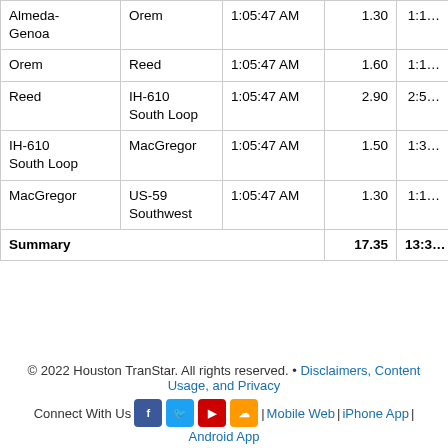| From | To | Time | Miles | Time |
| --- | --- | --- | --- | --- |
| Almeda-Genoa | Orem | 1:05:47 AM | 1.30 | 1:1… |
| Orem | Reed | 1:05:47 AM | 1.60 | 1:1… |
| Reed | IH-610 South Loop | 1:05:47 AM | 2.90 | 2:5… |
| IH-610 South Loop | MacGregor | 1:05:47 AM | 1.50 | 1:3… |
| MacGregor | US-59 Southwest | 1:05:47 AM | 1.30 | 1:1… |
| Summary |  |  | 17.35 | 13:3… |
© 2022 Houston TranStar. All rights reserved. • Disclaimers, Content Usage, and Privacy
Connect With Us | Mobile Web | iPhone App | Android App